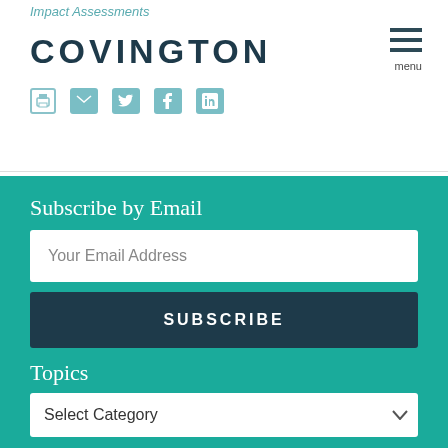Impact Assessments
COVINGTON
Subscribe by Email
Your Email Address
SUBSCRIBE
Topics
Select Category
Archives
Select Month